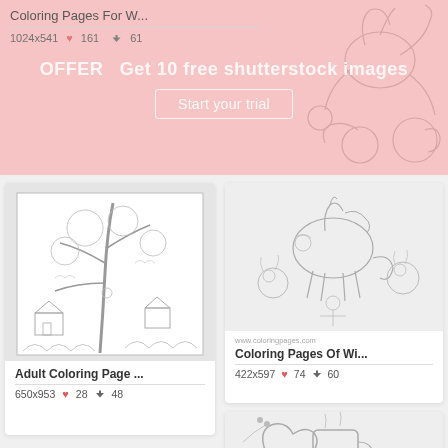[Figure (screenshot): Shutterstock promotional overlay banner over a pink background card showing 'Coloring Pages For W...' with dimensions 1024x541, 161 likes, 61 downloads. Overlay reads: OFFER Get 10 free shutterstock images. Start your trial.]
Coloring Pages For W...
1024x541  ♥ 161  ⬇ 61
OFFER  Get 10 free shutterstock images
Start your trial
[Figure (illustration): Adult coloring page with detailed fantasy forest scene featuring a large tree, fairy-tale houses, and intricate foliage in black and white line art]
Adult Coloring Page ...
650x953  ♥ 28  ⬇ 48
[Figure (illustration): Black and white coloring page of winter animals including unicorns, rabbits, and birds with a child figure]
Coloring Pages Of Wi...
422x597  ♥ 74  ⬇ 60
[Figure (illustration): Partial view of a winter-themed coloring page with mittens, a mug with 'love', and 'winter' lettering with decorative elements]